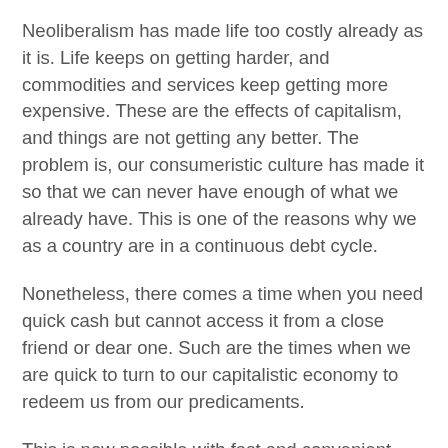Neoliberalism has made life too costly already as it is. Life keeps on getting harder, and commodities and services keep getting more expensive. These are the effects of capitalism, and things are not getting any better. The problem is, our consumeristic culture has made it so that we can never have enough of what we already have. This is one of the reasons why we as a country are in a continuous debt cycle.
Nonetheless, there comes a time when you need quick cash but cannot access it from a close friend or dear one. Such are the times when we are quick to turn to our capitalistic economy to redeem us from our predicaments.
This is now possible with fast and convenient Potwin Installment loans. The good thing is, Potwin has stipulated such strict measures and regulations against lenders, thereby making it convenient and affordable for consumers across all paycheck ranges to access Installment loans